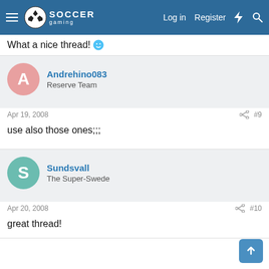Soccer Gaming - Log in | Register
What a nice thread! 🙂
Andrehino083
Reserve Team
Apr 19, 2008  #9
use also those ones;;;
Sundsvall
The Super-Swede
Apr 20, 2008  #10
great thread!